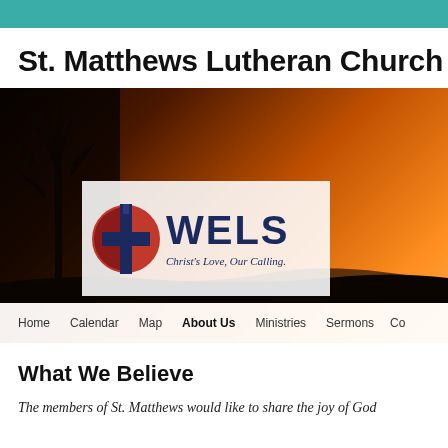St. Matthews Lutheran Church
[Figure (photo): Hero banner image showing a sunset sky with orange and dark tones, a tree silhouette on the left, a WELS (Christ's Love, Our Calling) logo overlay in the center, and a navigation bar at the bottom with links: Home, Calendar, Map, About Us (bold/active), Ministries, Sermons, Co...]
What We Believe
The members of St. Matthews would like to share the joy of God